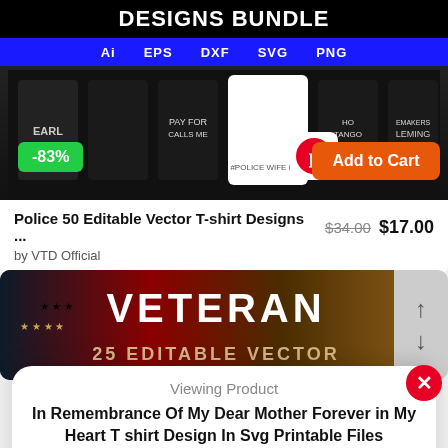[Figure (screenshot): Product listing image for Police 50 Editable Vector T-shirt Designs bundle showing multiple black t-shirts, file format icons (Ai, EPS, DXF, SVG, PNG), -83% discount badge, Pinterest button, and Add to Cart button]
Police 50 Editable Vector T-shirt Designs ... $34.00 $17.00
by VTD Official
[Figure (screenshot): Product listing image for Veteran 25 Editable Vector design with American flag background]
Viewing Product
In Remembrance Of My Dear Mother Forever in My Heart T shirt Design In Svg Printable Files
Price: $2.99
Add to cart